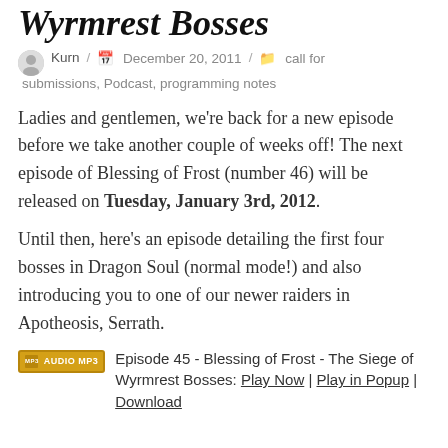Wyrmrest Bosses
Kurn / December 20, 2011 / call for submissions, Podcast, programming notes
Ladies and gentlemen, we're back for a new episode before we take another couple of weeks off! The next episode of Blessing of Frost (number 46) will be released on Tuesday, January 3rd, 2012.
Until then, here's an episode detailing the first four bosses in Dragon Soul (normal mode!) and also introducing you to one of our newer raiders in Apotheosis, Serrath.
Episode 45 - Blessing of Frost - The Siege of Wyrmrest Bosses: Play Now | Play in Popup | Download